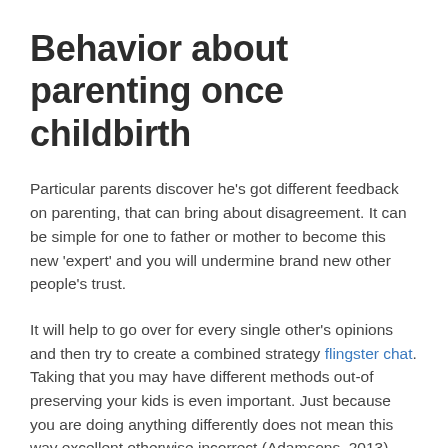Behavior about parenting once childbirth
Particular parents discover he's got different feedback on parenting, that can bring about disagreement. It can be simple for one to father or mother to become this new 'expert' and you will undermine brand new other people's trust.
It will help to go over for every single other's opinions and then try to create a combined strategy flingster chat. Taking that you may have different methods out-of preserving your kids is even important. Just because you are doing anything differently does not mean this way excellent otherwise incorrect (Adamsons, 2013) . Discover more about parenting since a team.